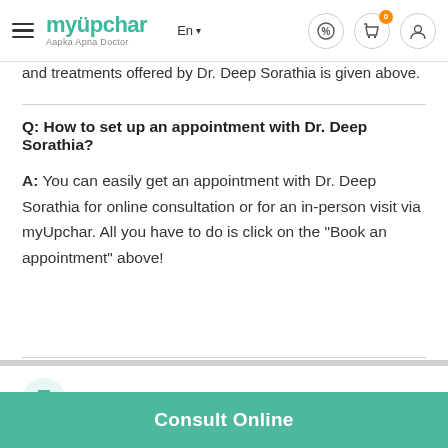myUpchar — Aapka Apna Doctor | En | Navigation icons
and treatments offered by Dr. Deep Sorathia is given above.
Q: How to set up an appointment with Dr. Deep Sorathia?
A: You can easily get an appointment with Dr. Deep Sorathia for online consultation or for an in-person visit via myUpchar. All you have to do is click on the "Book an appointment" above!
Awards
Member American Association of Orthodontist - 2015
Consult Online